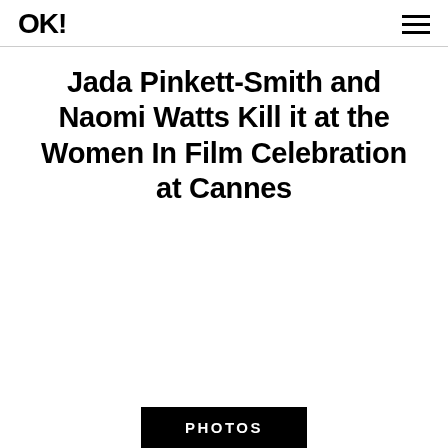OK!
Jada Pinkett-Smith and Naomi Watts Kill it at the Women In Film Celebration at Cannes
PHOTOS